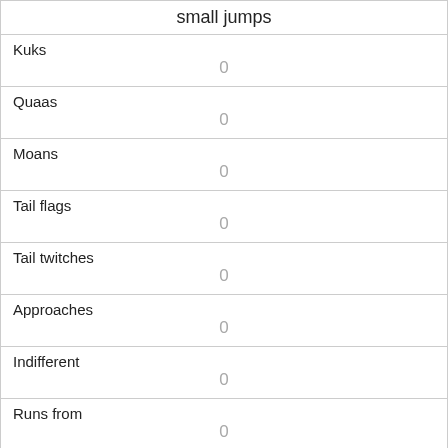| small jumps |
| --- |
| Kuks
0 |
| Quaas
0 |
| Moans
0 |
| Tail flags
0 |
| Tail twitches
0 |
| Approaches
0 |
| Indifferent
0 |
| Runs from
0 |
| Other Interactions
 |
| Lat/Long |